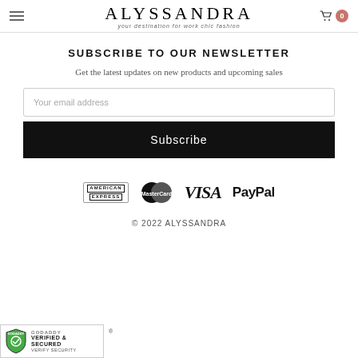ALYSSANDRA — your destination for work chic fashion
SUBSCRIBE TO OUR NEWSLETTER
Get the latest updates on new products and upcoming sales
[Figure (screenshot): Email address input field with placeholder text 'Your email address']
[Figure (screenshot): Black Subscribe button]
[Figure (logo): Payment method logos: American Express, MasterCard, VISA, PayPal]
© 2022 ALYSSANDRA
[Figure (logo): GoDaddy Verified & Secured badge with shield icon and VERIFY SECURITY text]